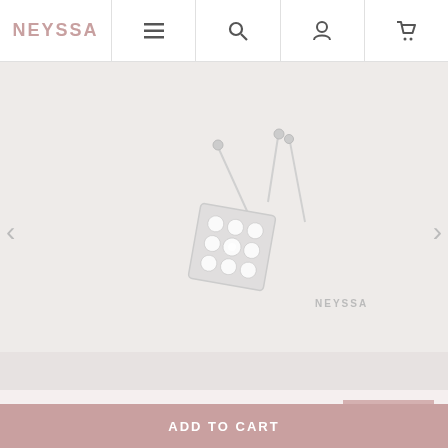NEYSSA — navigation bar with menu, search, account, and cart icons
[Figure (photo): Product photo of crystal/rhinestone square diamond-shaped stud earrings on a silver pin, displayed on a light grey background. NEYSSA watermark visible in lower right of image.]
We use cookies to ensure you get the best experience on our site. If you continue to use the latter, we consider that you are using the use of
ACCEPT
ADD TO CART